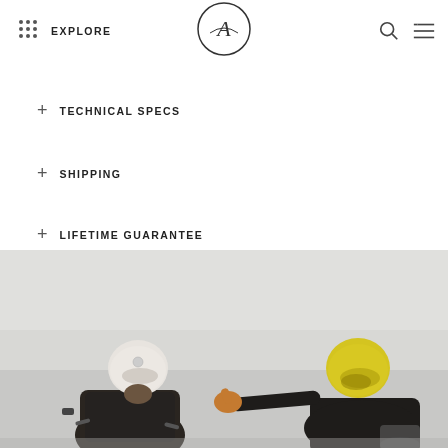EXPLORE
+ TECHNICAL SPECS
+ SHIPPING
+ LIFETIME GUARANTEE
+ HELP
[Figure (photo): Two motorcyclists viewed from behind; one wearing a white helmet, the other a yellow helmet pointing sideways, both on motorcycles against a grey sky background.]